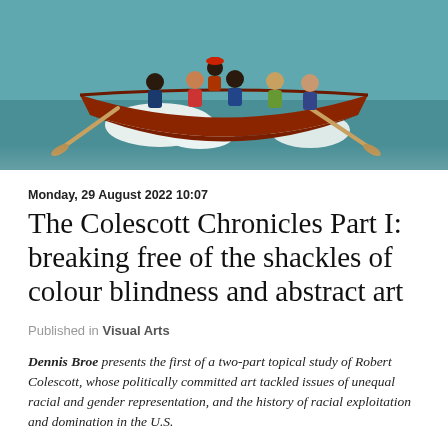[Figure (illustration): A painting showing several figures in a wooden rowing boat on water, with icebergs or white rocks in the background. The boat is dark red/brown and the figures appear to be rowing with oars.]
Monday, 29 August 2022 10:07
The Colescott Chronicles Part I: breaking free of the shackles of colour blindness and abstract art
Published in Visual Arts
Dennis Broe presents the first of a two-part topical study of Robert Colescott, whose politically committed art tackled issues of unequal racial and gender representation, and the history of racial exploitation and domination in the U.S.
One of the founding members of New Black Art just